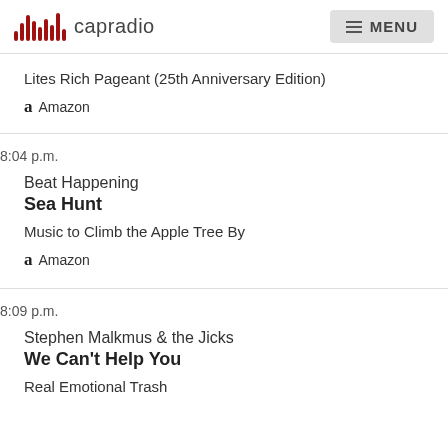capradio  MENU
Lites Rich Pageant (25th Anniversary Edition)
Amazon
8:04 p.m.
Beat Happening
Sea Hunt
Music to Climb the Apple Tree By
Amazon
8:09 p.m.
Stephen Malkmus & the Jicks
We Can't Help You
Real Emotional Trash